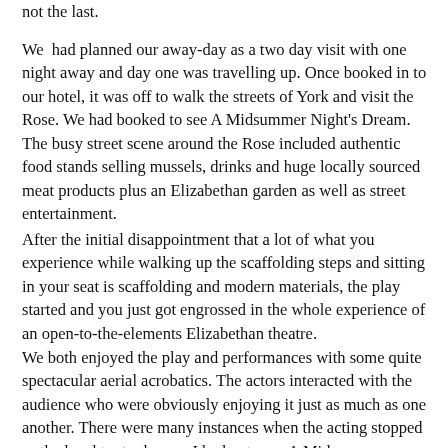not the last.
We had planned our away-day as a two day visit with one night away and day one was travelling up. Once booked in to our hotel, it was off to walk the streets of York and visit the Rose. We had booked to see A Midsummer Night's Dream. The busy street scene around the Rose included authentic food stands selling mussels, drinks and huge locally sourced meat products plus an Elizabethan garden as well as street entertainment.
After the initial disappointment that a lot of what you experience while walking up the scaffolding steps and sitting in your seat is scaffolding and modern materials, the play started and you just got engrossed in the whole experience of an open-to-the-elements Elizabethan theatre.
We both enjoyed the play and performances with some quite spectacular aerial acrobatics. The actors interacted with the audience who were obviously enjoying it just as much as one another. There were many instances when the acting stopped as the laughter took over. I had not seen A Midsummer Night's Dream previously and on my visit it